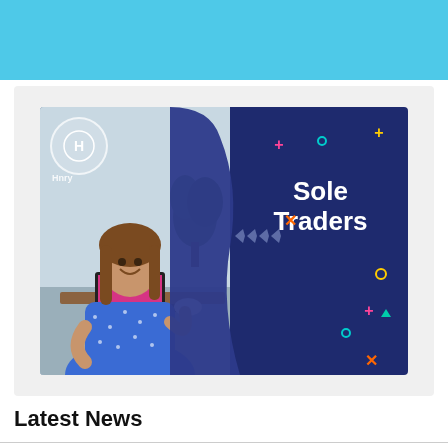[Figure (illustration): Light blue/cyan banner header at top of page]
[Figure (photo): Hnry Sole Traders promotional image: smiling woman in blue floral dress working on laptop at desk, dark navy background with 'Sole Traders' text in white, Hnry logo circle top left, colorful decorative plus signs and circles scattered around]
Latest News